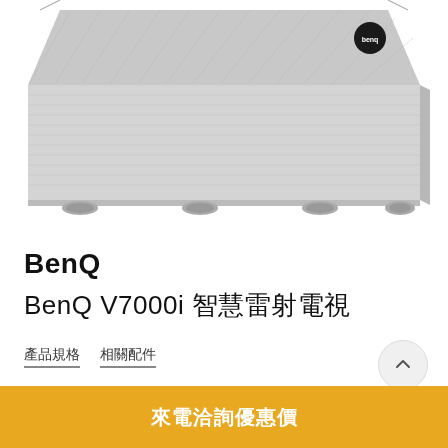[Figure (photo): BenQ V7000i smart laser TV device shown from above at slight angle, gray fabric-covered rectangular body with rubber feet, BenQ logo badge on top-right corner]
BenQ
BenQ V7000i 智慧雷射電視
產品規格  相關配件
來電洽詢優惠價